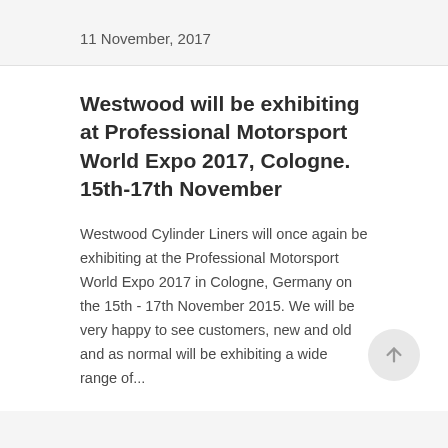11 November, 2017
Westwood will be exhibiting at Professional Motorsport World Expo 2017, Cologne. 15th-17th November
Westwood Cylinder Liners will once again be exhibiting at the Professional Motorsport World Expo 2017 in Cologne, Germany on the 15th - 17th November 2015. We will be very happy to see customers, new and old and as normal will be exhibiting a wide range of...